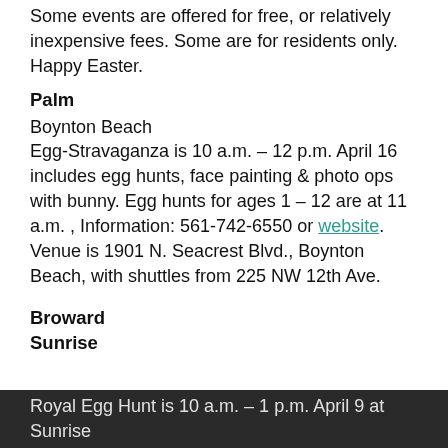Some events are offered for free, or relatively inexpensive fees. Some are for residents only. Happy Easter.
Palm
Boynton Beach
Egg-Stravaganza is 10 a.m. – 12 p.m. April 16 includes egg hunts, face painting & photo ops with bunny. Egg hunts for ages 1 – 12 are at 11 a.m. , Information: 561-742-6550 or website. Venue is 1901 N. Seacrest Blvd., Boynton Beach, with shuttles from 225 NW 12th Ave.
Broward
Sunrise
Royal Egg Hunt is 10 a.m. – 1 p.m. April 9 at Sunrise